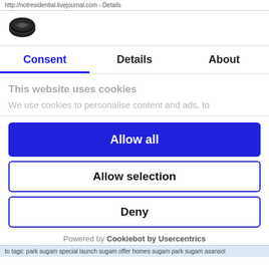http://notresidential.livejournal.com - Details
[Figure (logo): Cookiebot logo – dark oval cookie/shield shape]
Consent | Details | About
This website uses cookies
We use cookies to personalise content and ads, to
Allow all
Allow selection
Deny
Powered by Cookiebot by Usercentrics
to tags: park sugam special launch sugam offer homes sugam park sugam asansol